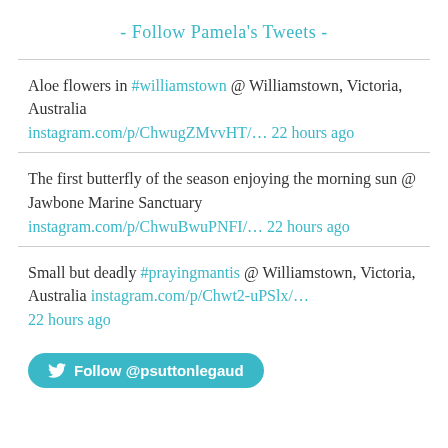- Follow Pamela's Tweets -
Aloe flowers in #williamstown @ Williamstown, Victoria, Australia instagram.com/p/ChwugZMvvHT/... 22 hours ago
The first butterfly of the season enjoying the morning sun @ Jawbone Marine Sanctuary instagram.com/p/ChwuBwuPNFI/... 22 hours ago
Small but deadly #prayingmantis @ Williamstown, Victoria, Australia instagram.com/p/Chwt2-uPSlx/... 22 hours ago
Follow @psuttonlegaud